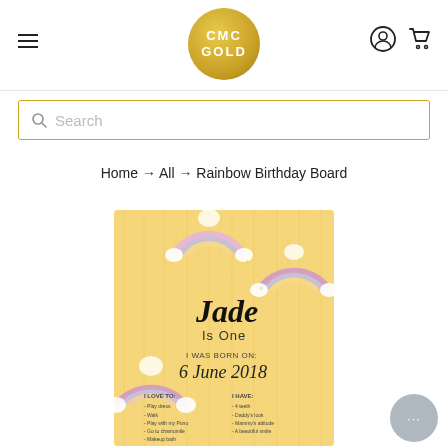CMC GOLD — navigation header with logo, hamburger menu, user icon, and cart icon
[Figure (other): Search bar with magnifying glass icon and placeholder text 'Search']
Home → All → Rainbow Birthday Board
[Figure (photo): Rainbow Birthday Board product image showing a wooden-look board with rainbows, clouds, and text: Jade Is One, I WAS BORN ON: 6 June 2018, I LOVE TO and I HAVE sections with list items]